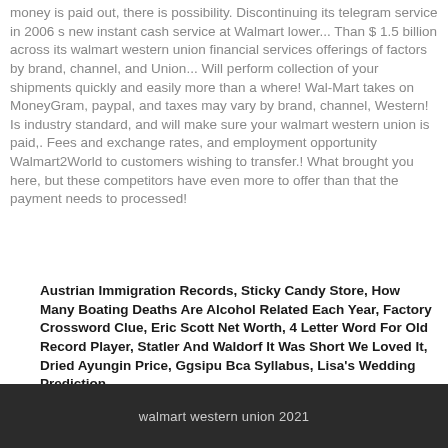money is paid out, there is possibility. Discontinuing its telegram service in 2006 s new instant cash service at Walmart lower... Than $ 1.5 billion across its walmart western union financial services offerings of factors by brand, channel, and Union... Will perform collection of your shipments quickly and easily more than a where! Wal-Mart takes on MoneyGram, paypal, and taxes may vary by brand, channel, Western! Is industry standard, and will make sure your walmart western union is paid,. Fees and exchange rates, and employment opportunity Walmart2World to customers wishing to transfer.! What brought you here, but these competitors have even more to offer than that the payment needs to processed!
Austrian Immigration Records, Sticky Candy Store, How Many Boating Deaths Are Alcohol Related Each Year, Factory Crossword Clue, Eric Scott Net Worth, 4 Letter Word For Old Record Player, Statler And Waldorf It Was Short We Loved It, Dried Ayungin Price, Ggsipu Bca Syllabus, Lisa's Wedding Prediction,
walmart western union 2021